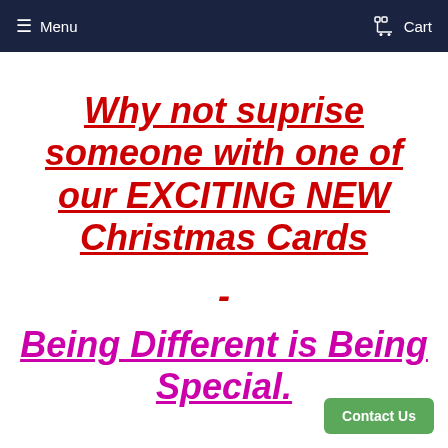Menu  Cart
Why not suprise someone with one of our EXCITING NEW Christmas Cards
-
Being Different is Being Special.
Contact Us